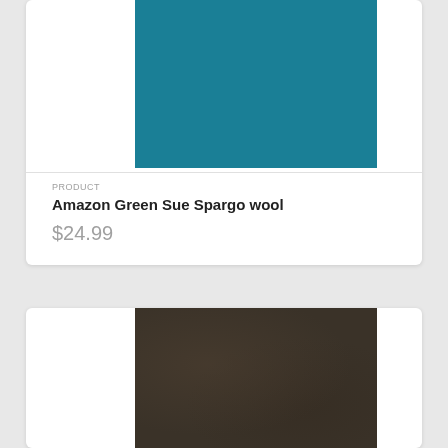[Figure (photo): Teal/Amazon green wool fabric swatch, square crop, solid color textile]
PRODUCT
Amazon Green Sue Spargo wool
$24.99
[Figure (photo): Dark brown/olive wool fabric swatch, square crop, textured textile]